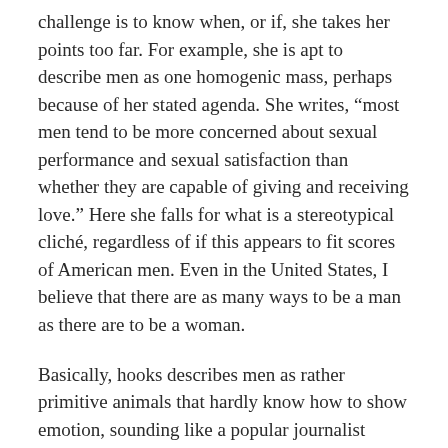challenge is to know when, or if, she takes her points too far. For example, she is apt to describe men as one homogenic mass, perhaps because of her stated agenda. She writes, “most men tend to be more concerned about sexual performance and sexual satisfaction than whether they are capable of giving and receiving love.” Here she falls for what is a stereotypical cliché, regardless of if this appears to fit scores of American men. Even in the United States, I believe that there are as many ways to be a man as there are to be a woman.
Basically, hooks describes men as rather primitive animals that hardly know how to show emotion, sounding like a popular journalist writing about Mars and Venus rather than grounding her discussion in facts. I have much sympathy for those wanting to get back at men, but this undermines her project since she doesn’t live up to her own philosophy. Love can only liberate us if we think